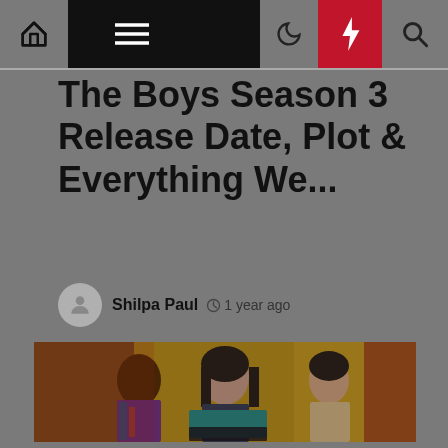Navigation bar with home, menu, dark mode, lightning/trending, and search icons
The Boys Season 3 Release Date, Plot & Everything We...
Shilpa Paul  ⏱ 1 year ago
[Figure (photo): Three people in a hallway/locker room setting. A woman in the center holds books and stares forward seriously. A man stands to the left looking surprised, and another man stands to the right with an open mouth expression.]